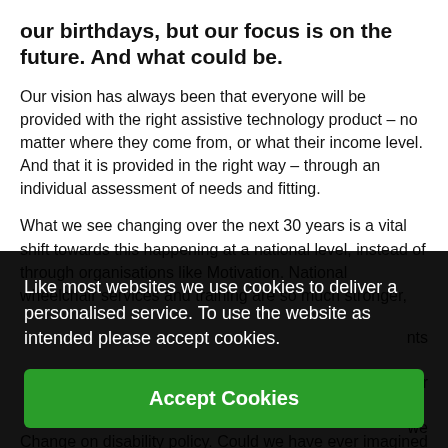our birthdays, but our focus is on the future. And what could be.
Our vision has always been that everyone will be provided with the right assistive technology product – no matter where they come from, or what their income level. And that it is provided in the right way – through an individual assessment of needs and fitting.
What we see changing over the next 30 years is a vital shift towards this happening at a national level, instead of through organisations like Motivation. National wheelchair services and training are so much stronger, [ments [our [we [n over [mmit [.
Like most websites we use cookies to deliver a personalised service. To use the website as intended please accept cookies.
Accept Cookies
Change on disability policy. Could we have ever imagined